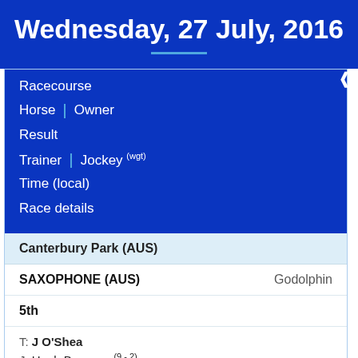Wednesday, 27 July, 2016
| Racecourse | Horse | Owner | Result | Trainer | Jockey (wgt) | Time (local) | Race details |
| --- | --- | --- | --- | --- | --- |
| Canterbury Park (AUS) |  |  |  |  |  |
| SAXOPHONE (AUS) | Godolphin |  |  |  |  |
| 5th |  |  |  |  |  |
| T: J O'Shea |  |  |  |  |  |
| J: Hugh Bowman (9 - 2) |  |  |  |  |  |